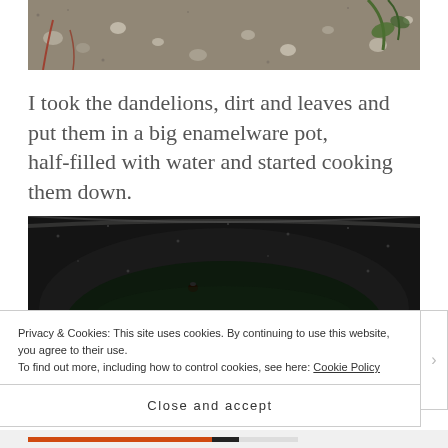[Figure (photo): Close-up photo of dandelions with roots, dirt, and small rocks on sandy ground with some reddish stems visible]
I took the dandelions, dirt and leaves and put them in a big enamelware pot, half-filled with water and started cooking them down.
[Figure (photo): Dark enamelware pot (speckled black/dark gray) seen from above with green dandelion leaves and stems cooking inside with water]
Privacy & Cookies: This site uses cookies. By continuing to use this website, you agree to their use.
To find out more, including how to control cookies, see here: Cookie Policy
Close and accept